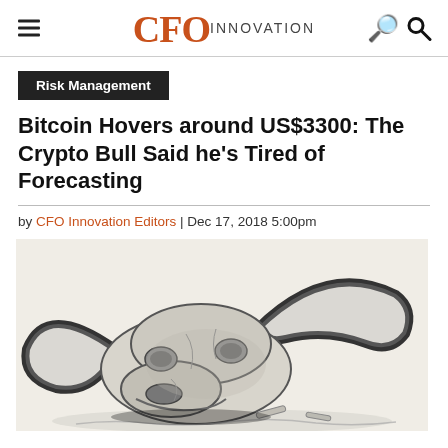CFO INNOVATION
Risk Management
Bitcoin Hovers around US$3300: The Crypto Bull Said he's Tired of Forecasting
by CFO Innovation Editors | Dec 17, 2018 5:00pm
[Figure (illustration): Black and white pencil illustration of a bull skull with large curved horns, lying on the ground, symbolizing a dying crypto bull market.]